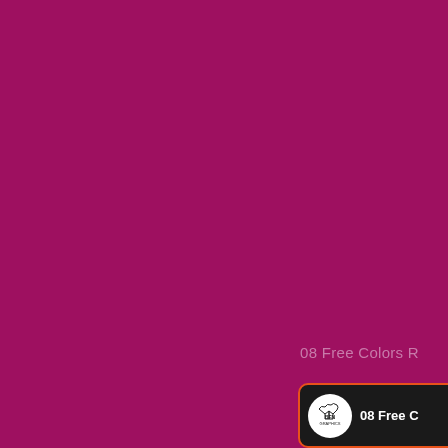[Figure (illustration): Solid magenta/crimson background filling most of the page]
08 Free Colors R
[Figure (logo): Dark card with orange border containing BFN Graphics circular logo and text '08 Free C']